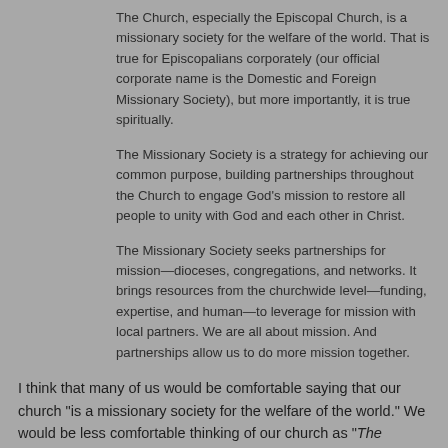The Church, especially the Episcopal Church, is a missionary society for the welfare of the world. That is true for Episcopalians corporately (our official corporate name is the Domestic and Foreign Missionary Society), but more importantly, it is true spiritually.
The Missionary Society is a strategy for achieving our common purpose, building partnerships throughout the Church to engage God's mission to restore all people to unity with God and each other in Christ.
The Missionary Society seeks partnerships for mission—dioceses, congregations, and networks. It brings resources from the churchwide level—funding, expertise, and human—to leverage for mission with local partners. We are all about mission. And partnerships allow us to do more mission together.
I think that many of us would be comfortable saying that our church "is a missionary society for the welfare of the world." We would be less comfortable thinking of our church as "The